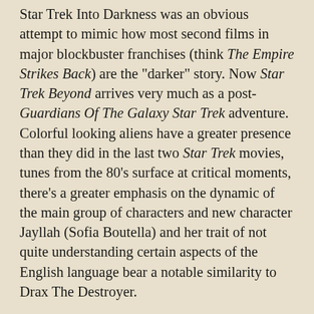Star Trek Into Darkness was an obvious attempt to mimic how most second films in major blockbuster franchises (think The Empire Strikes Back) are the "darker" story. Now Star Trek Beyond arrives very much as a post-Guardians Of The Galaxy Star Trek adventure. Colorful looking aliens have a greater presence than they did in the last two Star Trek movies, tunes from the 80's surface at critical moments, there's a greater emphasis on the dynamic of the main group of characters and new character Jayllah (Sofia Boutella) and her trait of not quite understanding certain aspects of the English language bear a notable similarity to Drax The Destroyer.
Lest you think I consider Star Trek Beyond taking cues from Guardians Of The Galaxy a bad thing, remember, I loved that James Gunn motion picture and taking some inspiration from Star-Lord and pals gives this new Star Trek adventure a zip of fresh energy it very much needed after Into Darkness. The story in this go-around is that Captain James T. Kirk (Chris Pine) is beginning to feel the strain of being in command of the U.S.S. Enterprise three years into his five-year long mandated mission. He's still struggling to figure out who he is and the concept of coming to terms with and...